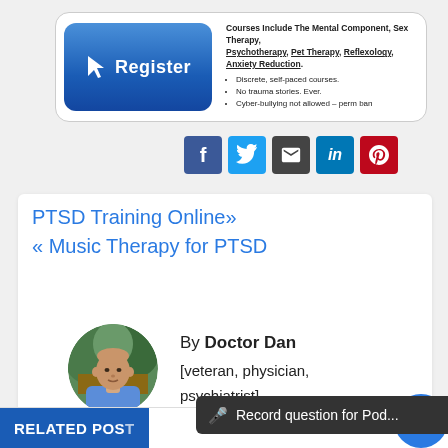[Figure (screenshot): Register banner with blue button showing cursor icon and 'Register' text, alongside course list including Mental Component, Sex Therapy, Psychotherapy, Pet Therapy, Reflexology, Anxiety Reduction, and bullet points: Discrete self-paced courses, No trauma stories. Ever., Cyber-bullying not allowed – perm ban]
[Figure (infographic): Social share icons: Facebook (blue), Twitter (cyan), Email (dark), LinkedIn (blue), Pinterest (red)]
PTSD Training Online»
« Music Therapy for PTSD
[Figure (photo): Circular portrait photo of Doctor Dan, a bald/short-haired man in a blue shirt against a green outdoor background]
By Doctor Dan
[veteran, physician, psychiatrist]
RELATED POS...
🎤 Record question for Pod...